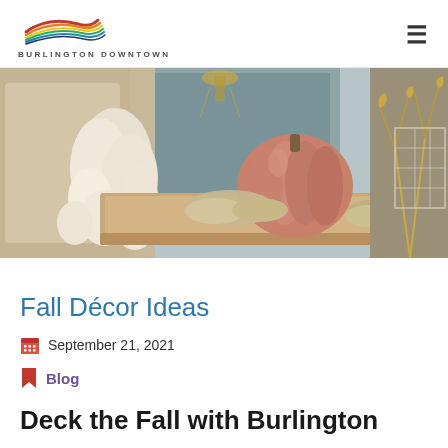BURLINGTON DOWNTOWN
[Figure (photo): Fall home décor display showing a pumpkin, decorative stones, macramé/tassel decorations on a wooden tray, with gold metallic branches and various neutral-toned accessories in a shop setting.]
Fall Décor Ideas
September 21, 2021
Blog
Deck the Fall with Burlington